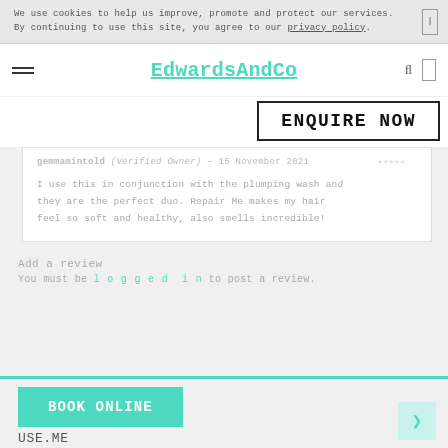We use cookies to help us improve, promote and protect our services. By continuing to use this site, you agree to our privacy policy.
EdwardsAndCo
ENQUIRE NOW
gemmamintold (Verified Owner) – 15 November 2021
I use this in conjunction with the plumping wash and they are the perfect duo. Repair Me makes my hair feel so soft and healthy, also smells incredible!
Add a review
You must be logged in to post a review.
BOOK ONLINE
USE.ME